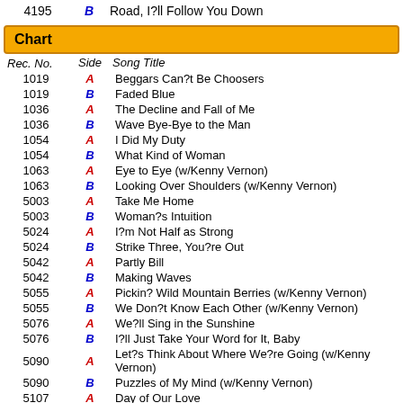4195 B Road, I?ll Follow You Down
Chart
| Rec. No. | Side | Song Title |
| --- | --- | --- |
| 1019 | A | Beggars Can?t Be Choosers |
| 1019 | B | Faded Blue |
| 1036 | A | The Decline and Fall of Me |
| 1036 | B | Wave Bye-Bye to the Man |
| 1054 | A | I Did My Duty |
| 1054 | B | What Kind of Woman |
| 1063 | A | Eye to Eye (w/Kenny Vernon) |
| 1063 | B | Looking Over Shoulders (w/Kenny Vernon) |
| 5003 | A | Take Me Home |
| 5003 | B | Woman?s Intuition |
| 5024 | A | I?m Not Half as Strong |
| 5024 | B | Strike Three, You?re Out |
| 5042 | A | Partly Bill |
| 5042 | B | Making Waves |
| 5055 | A | Pickin? Wild Mountain Berries (w/Kenny Vernon) |
| 5055 | B | We Don?t Know Each Other (w/Kenny Vernon) |
| 5076 | A | We?ll Sing in the Sunshine |
| 5076 | B | I?ll Just Take Your Word for It, Baby |
| 5090 | A | Let?s Think About Where We?re Going (w/Kenny Vernon) |
| 5090 | B | Puzzles of My Mind (w/Kenny Vernon) |
| 5107 | A | Day of Our Love |
| 5107 | B | No Matter How You Do Me |